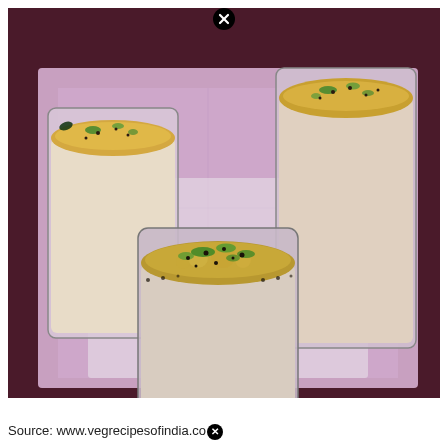[Figure (photo): Three tall glasses of masala chaas (spiced buttermilk/lassi) garnished with green herbs (coriander) and black mustard seeds on top, placed on a pink/lavender cloth-lined tray. The drinks have a frothy top surface. Close (X) button visible at the top center of the image.]
Source: www.vegrecipesofindia.co[X]